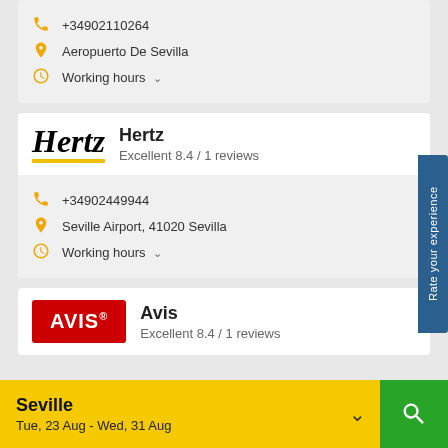+34902110264
Aeropuerto De Sevilla
Working hours
Hertz
Excellent 8.4 / 1 reviews
+34902449944
Seville Airport, 41020 Sevilla
Working hours
Avis
Excellent 8.4 / 1 reviews
Seville
Tue, 23 Aug - Wed, 31 Aug